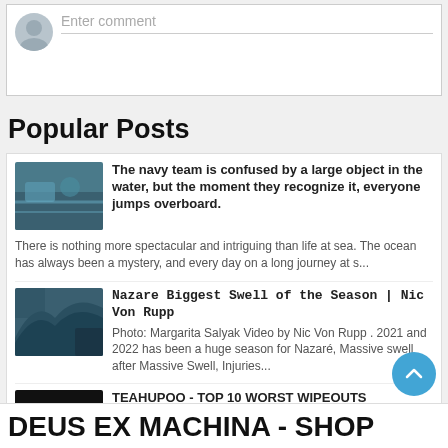[Figure (other): Comment input box with user avatar placeholder and 'Enter comment' placeholder text]
Popular Posts
[Figure (photo): Thumbnail of navy team at sea with large object in water]
The navy team is confused by a large object in the water, but the moment they recognize it, everyone jumps overboard. There is nothing more spectacular and intriguing than life at sea. The ocean has always been a mystery, and every day on a long journey at s...
[Figure (photo): Thumbnail of Nazare big wave surfing]
Nazare Biggest Swell of the Season | Nic Von Rupp
Photo: Margarita Salyak Video by Nic Von Rupp . 2021 and 2022 has been a huge season for Nazaré, Massive swell after Massive Swell, Injuries...
[Figure (photo): Thumbnail of Teahupoo wave wipeout]
TEAHUPOO - TOP 10 WORST WIPEOUTS
It really gets on another level of wipeout when you talk about Teahupoo! Would you have the courage to surf there? Teahupo'o is a reef b...
DEUS EX MACHINA - SHOP